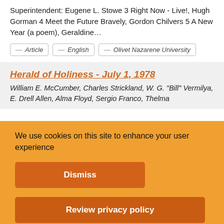Superintendent: Eugene L. Stowe 3 Right Now - Live!, Hugh Gorman 4 Meet the Future Bravely, Gordon Chilvers 5 A New Year (a poem), Geraldine…
— Article
— English
— Olivet Nazarene University
Herald of Holiness - July 1, 1978
William E. McCumber, Charles Strickland, W. G. "Bill" Vermilya, E. Drell Allen, Alma Floyd, Sergio Franco, Thelma
We use cookies on this site to enhance your user experience
Dismiss
Review privacy policy